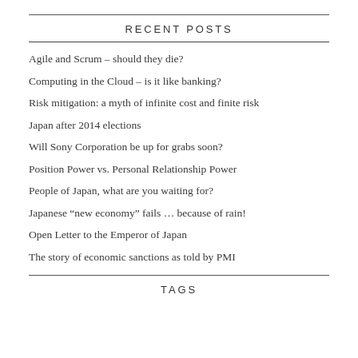RECENT POSTS
Agile and Scrum – should they die?
Computing in the Cloud – is it like banking?
Risk mitigation: a myth of infinite cost and finite risk
Japan after 2014 elections
Will Sony Corporation be up for grabs soon?
Position Power vs. Personal Relationship Power
People of Japan, what are you waiting for?
Japanese “new economy” fails … because of rain!
Open Letter to the Emperor of Japan
The story of economic sanctions as told by PMI
TAGS